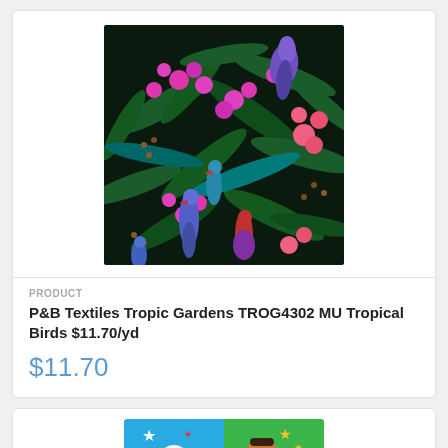[Figure (photo): Tropical fabric print showing colorful exotic birds (purple, blue, red) among green ferns, pink and coral flowers on a dark background]
PRODUCT
P&B Textiles Tropic Gardens TROG4302 MU Tropical Birds $11.70/yd
$11.70
[Figure (illustration): Two-panel colorful logo/badge: left panel blue with stars and magnifying glass, right panel green with stars and character with glasses]